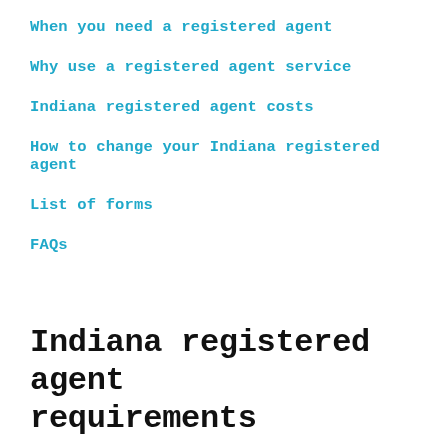When you need a registered agent
Why use a registered agent service
Indiana registered agent costs
How to change your Indiana registered agent
List of forms
FAQs
Indiana registered agent requirements
All registered agents in the state of Indiana must be either a resident of the state or he